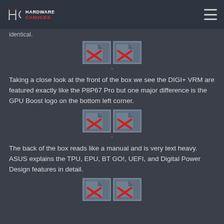Hardware Canucks
identical.
[Figure (other): Two broken/missing image placeholders with red X marks]
Taking a close look at the front of the box we see the DIGI+ VRM are featured exactly like the P8P67 Pro but one major difference is the GPU Boost logo on the bottom left corner.
[Figure (other): Two broken/missing image placeholders with red X marks]
The back of the box reads like a manual and is very text heavy. ASUS explains the TPU, EPU, BT GO!, UEFI, and Digital Power Design features in detail.
[Figure (other): Two broken/missing image placeholders with red X marks (partially visible)]